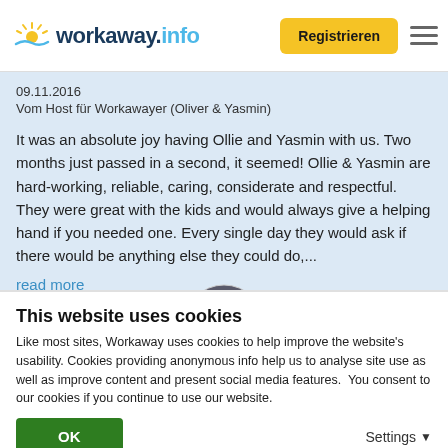workaway.info — Registrieren
09.11.2016
Vom Host für Workawayer (Oliver & Yasmin)
It was an absolute joy having Ollie and Yasmin with us. Two months just passed in a second, it seemed! Ollie & Yasmin are hard-working, reliable, caring, considerate and respectful. They were great with the kids and would always give a helping hand if you needed one. Every single day they would ask if there would be anything else they could do,... read more
[Figure (photo): Circular profile photo of two people standing outdoors]
This website uses cookies
Like most sites, Workaway uses cookies to help improve the website's usability. Cookies providing anonymous info help us to analyse site use as well as improve content and present social media features.  You consent to our cookies if you continue to use our website.
OK    Settings